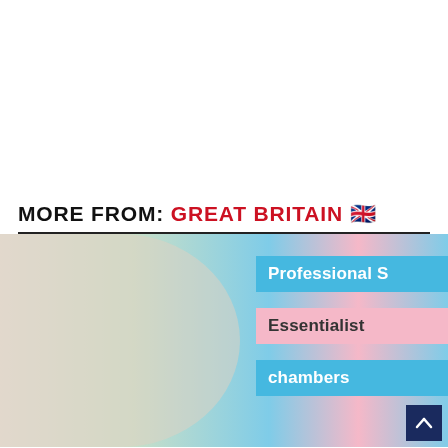MORE FROM: GREAT BRITAIN 🇬🇧
[Figure (photo): A young man wearing glasses and a dark green tuxedo with bow tie, smiling at a professional event. Behind him are banners reading 'Professional S[kills]', 'Essentialist[s]', and '[c]hambers'. To the left is a partial face of another person wearing glasses.]